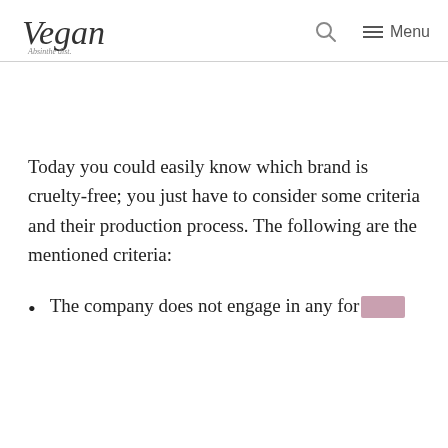Vegan [logo] | Search | Menu
Today you could easily know which brand is cruelty-free; you just have to consider some criteria and their production process. The following are the mentioned criteria:
The company does not engage in any for[redacted]